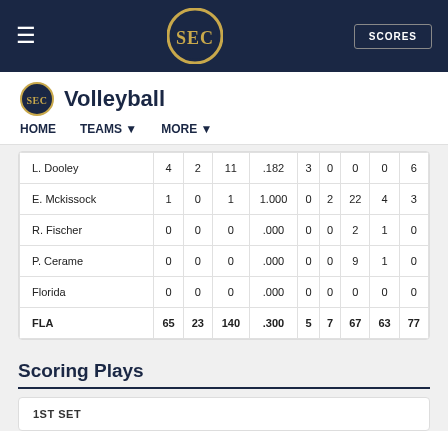SEC Volleyball | HOME | TEAMS | MORE | SCORES
| Player | K | E | TA | PCT | A | SA | DIG | BS | BA |
| --- | --- | --- | --- | --- | --- | --- | --- | --- | --- |
| L. Dooley | 4 | 2 | 11 | .182 | 3 | 0 | 0 | 0 | 6 |
| E. Mckissock | 1 | 0 | 1 | 1.000 | 0 | 2 | 22 | 4 | 3 |
| R. Fischer | 0 | 0 | 0 | .000 | 0 | 0 | 2 | 1 | 0 |
| P. Cerame | 0 | 0 | 0 | .000 | 0 | 0 | 9 | 1 | 0 |
| Florida | 0 | 0 | 0 | .000 | 0 | 0 | 0 | 0 | 0 |
| FLA | 65 | 23 | 140 | .300 | 5 | 7 | 67 | 63 | 77 |
Scoring Plays
1ST SET